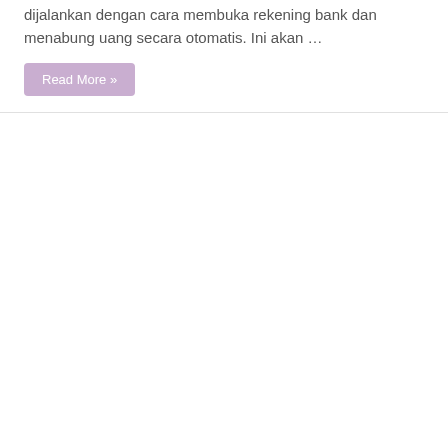dijalankan dengan cara membuka rekening bank dan menabung uang secara otomatis. Ini akan …
Read More »